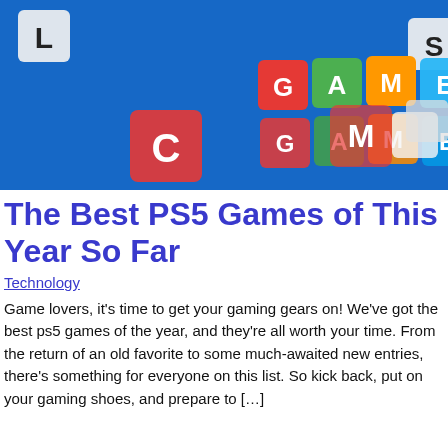[Figure (photo): Colorful letter dice spelling GAME on a blue surface, with scattered dice around them. Red, green, orange, blue, and white dice are visible, some with letters like L, C, S, M visible.]
The Best PS5 Games of This Year So Far
Technology
Game lovers, it's time to get your gaming gears on! We've got the best ps5 games of the year, and they're all worth your time. From the return of an old favorite to some much-awaited new entries, there's something for everyone on this list. So kick back, put on your gaming shoes, and prepare to […]